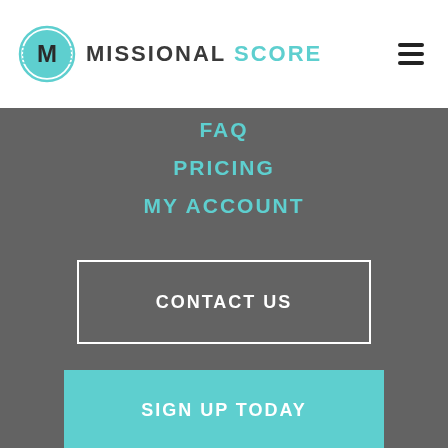MISSIONAL SCORE
FAQ
PRICING
MY ACCOUNT
CONTACT US
SIGN UP TODAY
© MISSIONAL SCORE. All Rights Reserved.